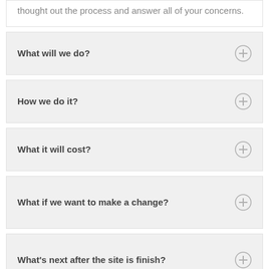thought out the process and answer all of your concerns.
What will we do?
How we do it?
What it will cost?
What if we want to make a change?
What's next after the site is finish?